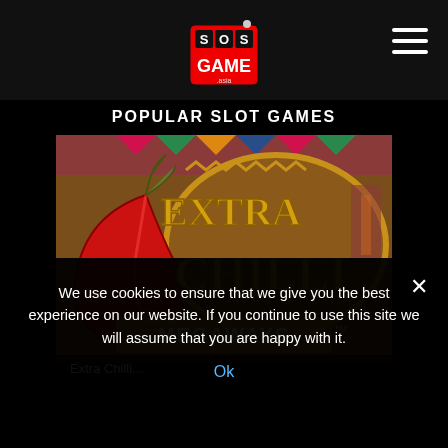SOS GAME (logo) navigation header
POPULAR SLOT GAMES
[Figure (screenshot): Extra Chilli Megaways slot game promotional image showing a red chilli pepper and golden Extra Chilli Megaways logo on a wooden background]
Extra Chilli...
We use cookies to ensure that we give you the best experience on our website. If you continue to use this site we will assume that you are happy with it.
Ok